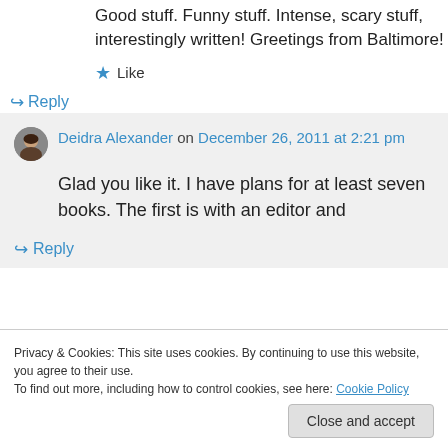Good stuff. Funny stuff. Intense, scary stuff, interestingly written! Greetings from Baltimore!
★ Like
↪ Reply
Deidra Alexander on December 26, 2011 at 2:21 pm
Glad you like it. I have plans for at least seven books. The first is with an editor and
↪ Reply
Privacy & Cookies: This site uses cookies. By continuing to use this website, you agree to their use.
To find out more, including how to control cookies, see here: Cookie Policy
Close and accept